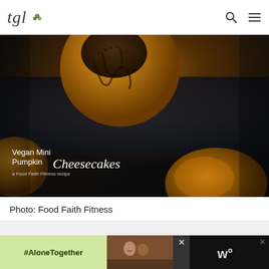tgl (logo with leaf icon), search icon, menu icon
[Figure (photo): Close-up food photo of Vegan Mini Pumpkin Cheesecakes on a dark fabric background. Small round golden cheesecakes with chocolate drizzle. Text overlay reads 'Vegan Mini Pumpkin Cheesecakes' with credit 'a Food Faith Fitness recipe'.]
Photo: Food Faith Fitness
[Figure (screenshot): Advertisement banner with #AloneTogether text on a light green background, a photo of a family waving, an X close button, and additional ad content on black background.]